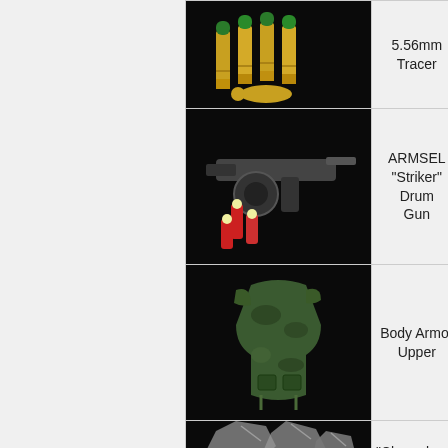[Figure (photo): Five 5.56mm tracer rounds with green tips on black background]
5.56mm Tracer
[Figure (photo): ARMSEL Striker drum shotgun with red shotgun shells on black background]
ARMSEL "Striker" Drum Gun
[Figure (photo): Green camouflage body armor vest on black background]
Body Armor Upper
[Figure (photo): Chameleon item on black background, partially visible]
"Chameleon"